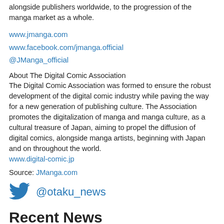alongside publishers worldwide, to the progression of the manga market as a whole.
www.jmanga.com
www.facebook.com/jmanga.official
@JManga_official
About The Digital Comic Association
The Digital Comic Association was formed to ensure the robust development of the digital comic industry while paving the way for a new generation of publishing culture. The Association promotes the digitalization of manga and manga culture, as a cultural treasure of Japan, aiming to propel the diffusion of digital comics, alongside manga artists, beginning with Japan and on throughout the world.
www.digital-comic.jp
Source: JManga.com
@otaku_news
Recent News